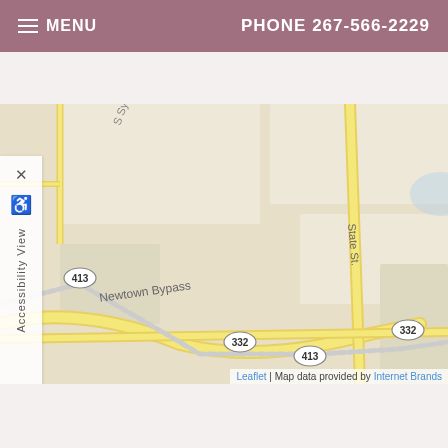MENU  PHONE 267-566-2229
[Figure (map): Street map showing Newtown Bypass, State St, roads 332 and 413 near Newtown area]
AVAILABILITY
| Primary |  |
| --- | --- |
| Monday: | Closed |
| Tuesday: | 12:00 PM-8:00 PM |
| Wednesday: | 9:00 AM-6:00 PM |